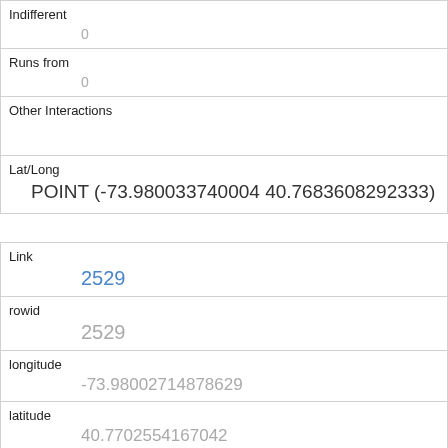| Indifferent | 0 |
| Runs from | 0 |
| Other Interactions |  |
| Lat/Long | POINT (-73.980033740004 40.7683608292333) |
| Link | 2529 |
| rowid | 2529 |
| longitude | -73.98002714878629 |
| latitude | 40.7702554167042 |
| Unique Squirrel ID | 4A-PM-1007-06 |
| Hectare |  |